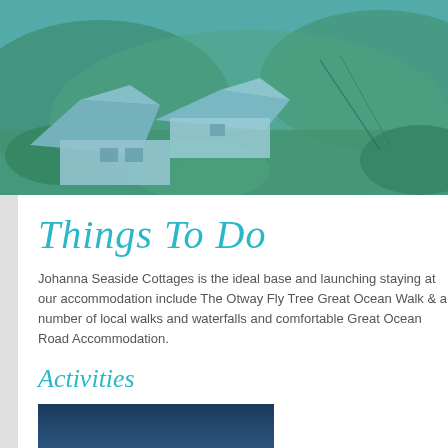[Figure (photo): Aerial view of Johanna Seaside Cottages with grey/blue rooftops surrounded by green hills and vegetation]
Things To Do
Johanna Seaside Cottages is the ideal base and launching staying at our accommodation include The Otway Fly Tree Great Ocean Walk & a number of local walks and waterfalls and comfortable Great Ocean Road Accommodation.
Activities
[Figure (photo): Silhouette of three people standing on a beach at sunset/sunrise, with sunlight between them and rocky outcrops in background]
Great Ocean Walk